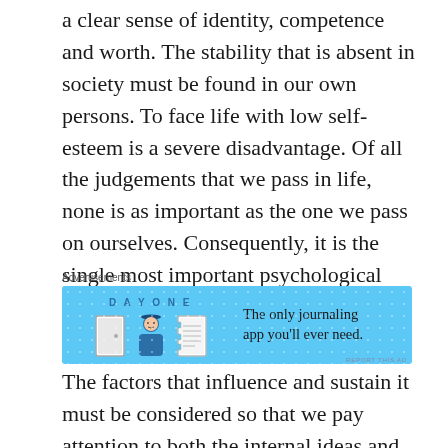a clear sense of identity, competence and worth. The stability that is absent in society must be found in our own persons. To face life with low self-esteem is a severe disadvantage. Of all the judgements that we pass in life, none is as important as the one we pass on ourselves. Consequently, it is the single most important psychological subject in the world.
[Figure (other): Advertisement banner for Day One journaling app with light blue background, app icons, and text 'The only journaling app you'll ever need.']
The factors that influence and sustain it must be considered so that we pay attention to both the internal ideas and behaviours of an